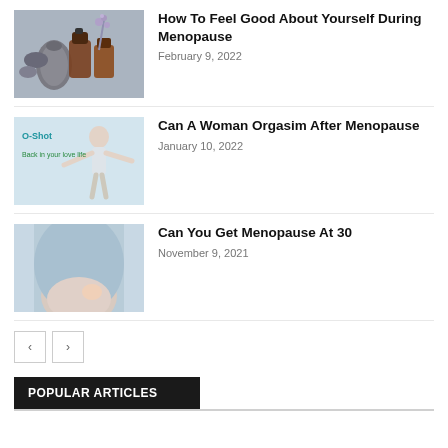[Figure (photo): Aromatherapy essential oil bottles with lavender and stones, Featured badge]
How To Feel Good About Yourself During Menopause
February 9, 2022
[Figure (photo): Woman with arms outstretched outdoors with O-Shot advertisement overlay, Featured badge]
Can A Woman Orgasim After Menopause
January 10, 2022
[Figure (photo): Pregnant woman in light blue top holding belly, Featured badge]
Can You Get Menopause At 30
November 9, 2021
POPULAR ARTICLES